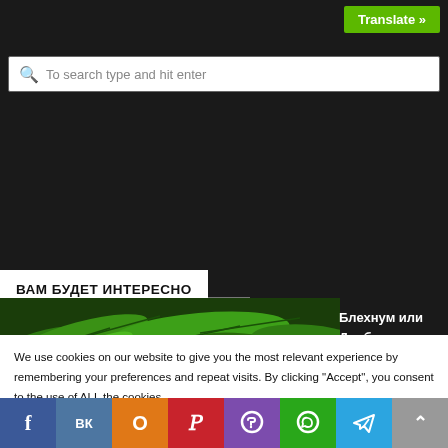Translate »
To search type and hit enter
ВАМ БУДЕТ ИНТЕРЕСНО
[Figure (photo): Green fern plants close-up photo]
Блехнум или Дербянка
We use cookies on our website to give you the most relevant experience by remembering your preferences and repeat visits. By clicking "Accept", you consent to the use of ALL the cookies.
Do not sell my personal information.
Cookie Settings
Accept
f VK OK P (viber) (whatsapp) (telegram) ^